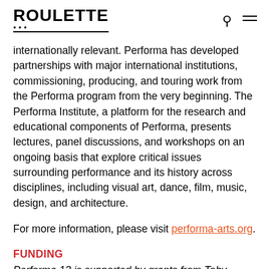ROULETTE
internationally relevant. Performa has developed partnerships with major international institutions, commissioning, producing, and touring work from the Performa program from the very beginning. The Performa Institute, a platform for the research and educational components of Performa, presents lectures, panel discussions, and workshops on an ongoing basis that explore critical issues surrounding performance and its history across disciplines, including visual art, dance, film, music, design, and architecture.
For more information, please visit performa-arts.org.
FUNDING
Performa 13 is supported by grants from Toby Devan Lewis, The Lambent Foundation, The Andy Warhol Foundation for the Arts, The Potter Charitable Trust